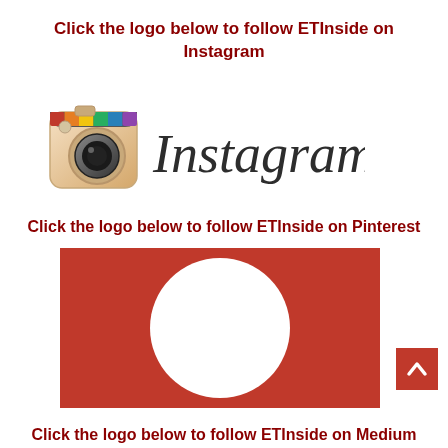Click the logo below to follow ETInside on Instagram
[Figure (logo): Instagram logo with camera icon and script text 'Instagram']
Click the logo below to follow ETInside on Pinterest
[Figure (logo): Pinterest logo - red background with white P circle icon]
Click the logo below to follow ETInside on Medium